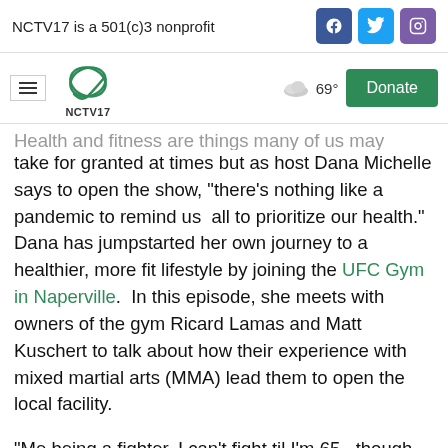NCTV17 is a 501(c)3 nonprofit
Health and fitness are things many of us may take for granted at times but as host Dana Michelle says to open the show, “there’s nothing like a pandemic to remind us  all to prioritize our health.”  Dana has jumpstarted her own journey to a healthier, more fit lifestyle by joining the UFC Gym in Naperville.  In this episode, she meets with owners of the gym Ricard Lamas and Matt Kuschert to talk about how their experience with mixed martial arts (MMA) lead them to open the local facility.
“Me being a fighter, I can’t fight til I’m 65 , though I’d like to if I could.  Father time just won’t allow that to happen.”